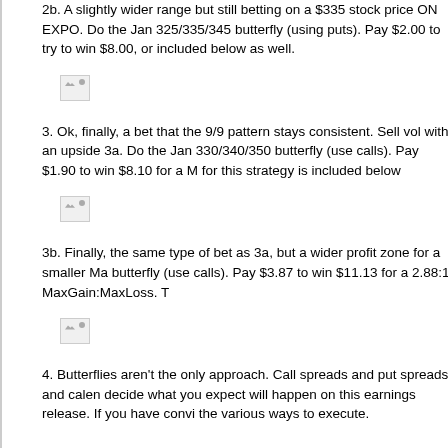2b. A slightly wider range but still betting on a $335 stock price ON EXPO. Do the Jan 325/335/345 butterfly (using puts). Pay $2.00 to try to win $8.00, or included below as well.
[Figure (other): Broken image placeholder for butterfly strategy diagram 2b]
3. Ok, finally, a bet that the 9/9 pattern stays consistent. Sell vol with an upside 3a. Do the Jan 330/340/350 butterfly (use calls). Pay $1.90 to win $8.10 for a M for this strategy is included below
[Figure (other): Broken image placeholder for butterfly strategy diagram 3a]
3b. Finally, the same type of bet as 3a, but a wider profit zone for a smaller Ma butterfly (use calls). Pay $3.87 to win $11.13 for a 2.88:1 MaxGain:MaxLoss. T
[Figure (other): Broken image placeholder for butterfly strategy diagram 3b]
4. Butterflies aren't the only approach. Call spreads and put spreads and calen decide what you expect will happen on this earnings release. If you have convi the various ways to execute.